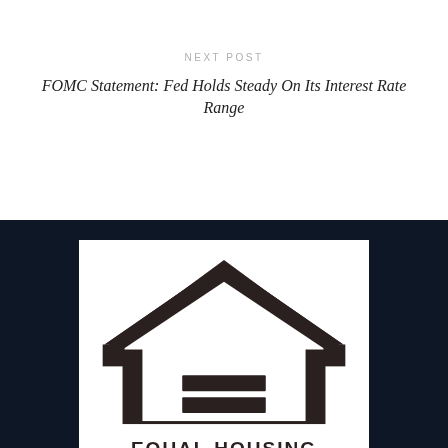NEXT POST
FOMC Statement: Fed Holds Steady On Its Interest Rate Range
[Figure (logo): Equal Housing logo: a house outline with an equals sign inside, above the text EQUAL HOUSING, on a white background within a dark navy footer section.]